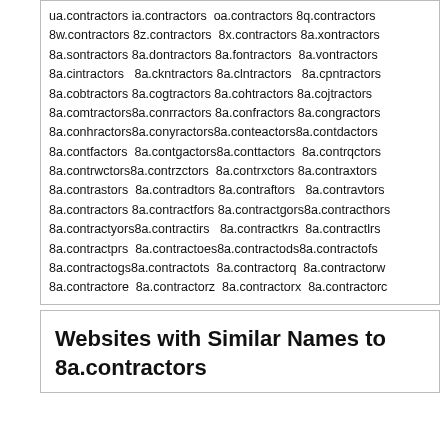ua.contractors ia.contractors oa.contractors 8q.contractors 8w.contractors 8z.contractors 8x.contractors 8a.xontractors 8a.sontractors 8a.dontractors 8a.fontractors 8a.vontractors 8a.cintractors 8a.ckntractors 8a.clntractors 8a.cpntractors 8a.cobtractors 8a.cogtractors 8a.cohtractors 8a.cojtractors 8a.comtractors 8a.conrractors 8a.confractors 8a.congractors 8a.conhractors 8a.conyractors 8a.conteactors 8a.contdactors 8a.contfactors 8a.contgactors 8a.conttactors 8a.contrqctors 8a.contrwctors 8a.contrzctors 8a.contrxctors 8a.contraxtors 8a.contrastors 8a.contradtors 8a.contraftors 8a.contravtors 8a.contractors 8a.contractfors 8a.contractgors 8a.contracthors 8a.contractyors 8a.contractirs 8a.contractkrs 8a.contractlrs 8a.contractprs 8a.contractoes 8a.contractods 8a.contractofs 8a.contractogs 8a.contractots 8a.contractorq 8a.contractorw 8a.contractore 8a.contractorz 8a.contractorx 8a.contractorc
Websites with Similar Names to 8a.contractors